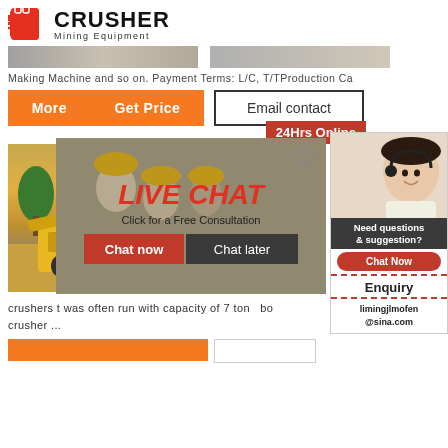[Figure (logo): Crusher Mining Equipment logo with orange shopping bag icon and bold black text]
[Figure (photo): Two partial product/industrial photos in a horizontal strip]
Making Machine and so on. Payment Terms: L/C, T/TProduction Ca
More   Get Price
Email contact
24Hrs Online
[Figure (photo): Left: yellow mining crusher machine outdoors; Right: industrial facility with piles]
[Figure (photo): Live Chat overlay popup with construction workers in background, LIVE CHAT heading, Chat now and Chat later buttons]
[Figure (photo): Sidebar panel with customer service representative photo, Need questions & suggestion text, Chat Now button, Enquiry section, limingjlmofen@sina.com email]
crushers t was often run with capacity of 7 ton   bo crusher ...
[Figure (other): Bottom orange button strip]